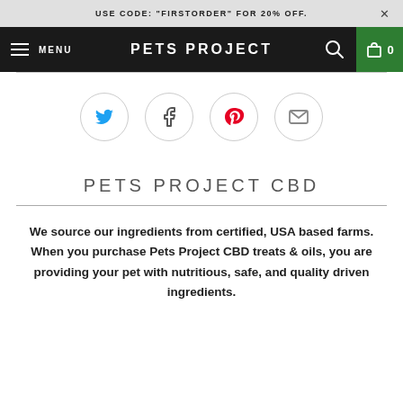USE CODE: "FIRSTORDER" FOR 20% OFF.
MENU  PETS PROJECT  0
[Figure (screenshot): Social sharing icons row: Twitter (blue bird), Facebook (f), Pinterest (red P), Email (envelope), each in a circle with light grey border]
PETS PROJECT CBD
We source our ingredients from certified, USA based farms. When you purchase Pets Project CBD treats & oils, you are providing your pet with nutritious, safe, and quality driven ingredients.